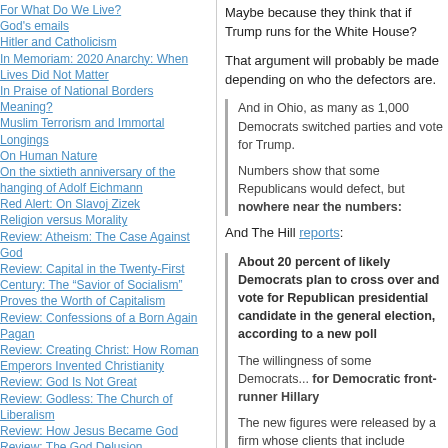For What Do We Live?
God's emails
Hitler and Catholicism
In Memoriam: 2020 Anarchy: When Lives Did Not Matter
In Praise of National Borders
Meaning?
Muslim Terrorism and Immortal Longings
On Human Nature
On the sixtieth anniversary of the hanging of Adolf Eichmann
Red Alert: On Slavoj Zizek
Religion versus Morality
Review: Atheism: The Case Against God
Review: Capital in the Twenty-First Century: The "Savior of Socialism" Proves the Worth of Capitalism
Review: Confessions of a Born Again Pagan
Review: Creating Christ: How Roman Emperors Invented Christianity
Review: God Is Not Great
Review: Godless: The Church of Liberalism
Review: How Jesus Became God
Review: The God Delusion
Review: The New Testament
Review: Waking Up: A Guide to Spirituality Without Religion.
Reviews: Beyond Opinion: Living The Faith We Defend & God's Undertaker: Has Science Buried God?
Tell Them
Maybe because they think that if Trump runs for the White House?
That argument will probably be made depending on who the defectors are.
And in Ohio, as many as 1,000 Democrats switched parties and vote for Trump.
Numbers show that some Republicans would defect, but nowhere near the numbers...
And The Hill reports:
About 20 percent of likely Democrats plan to cross over and vote for Republican presidential candidate in the general election, according to a new p
The willingness of some Democrats... for Democratic front-runner H
The new figures were released... clients that include MSNBC and... test of Trump's first campaign ac